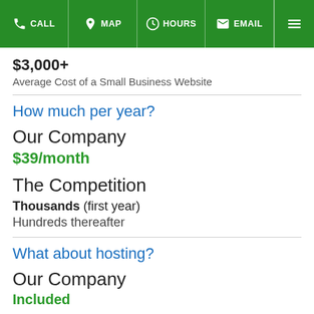CALL  MAP  HOURS  EMAIL
$3,000+
Average Cost of a Small Business Website
How much per year?
Our Company
$39/month
The Competition
Thousands (first year)
Hundreds thereafter
What about hosting?
Our Company
Included